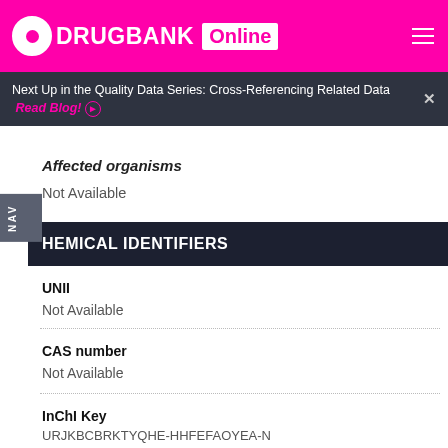DRUGBANK Online
Next Up in the Quality Data Series: Cross-Referencing Related Data  Read Blog!
Affected organisms
Not Available
HEMICAL IDENTIFIERS
UNII
Not Available
CAS number
Not Available
InChI Key
URJKBCBRKTYQHE-HHFEFAOYEA-N